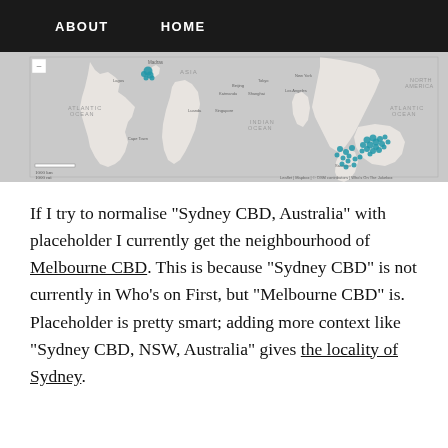ABOUT   HOME
[Figure (map): World map showing clustered blue dot markers concentrated around Australia and a small cluster near the UK/Ireland region.]
If I try to normalise "Sydney CBD, Australia" with placeholder I currently get the neighbourhood of Melbourne CBD. This is because "Sydney CBD" is not currently in Who's on First, but "Melbourne CBD" is. Placeholder is pretty smart; adding more context like "Sydney CBD, NSW, Australia" gives the locality of Sydney.